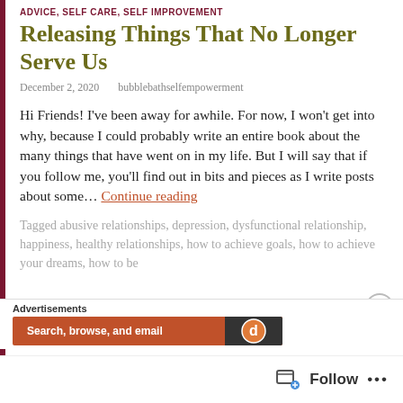ADVICE, SELF CARE, SELF IMPROVEMENT
Releasing Things That No Longer Serve Us
December 2, 2020   bubblebathselfempowerment
Hi Friends! I've been away for awhile. For now, I won't get into why, because I could probably write an entire book about the many things that have went on in my life. But I will say that if you follow me, you'll find out in bits and pieces as I write posts about some… Continue reading
Tagged abusive relationships, depression, dysfunctional relationship, happiness, healthy relationships, how to achieve goals, how to achieve your dreams, how to be
Advertisements
Search, browse, and email
Follow ...